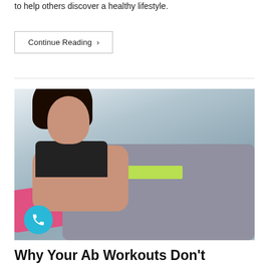to help others discover a healthy lifestyle.
Continue Reading ›
[Figure (photo): Woman doing sit-ups on a pink yoga mat, wearing a black sports bra and patterned leggings with a neon yellow waistband, smiling, photographed from the side against a light background. A teal phone button icon is overlaid in the bottom-left corner of the image.]
Why Your Ab Workouts Don't